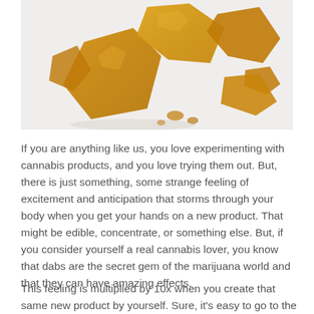[Figure (photo): Close-up photograph of cannabis concentrate shatter pieces — amber/golden translucent shards scattered on a white background]
If you are anything like us, you love experimenting with cannabis products, and you love trying them out. But, there is just something, some strange feeling of excitement and anticipation that storms through your body when you get your hands on a new product. That might be edible, concentrate, or something else. But, if you consider yourself a real cannabis lover, you know that dabs are the secret gem of the marijuana world and that they can have amazing effects.
This feeling is multiplied by 10x when you create that same new product by yourself. Sure, it's easy to go to the local